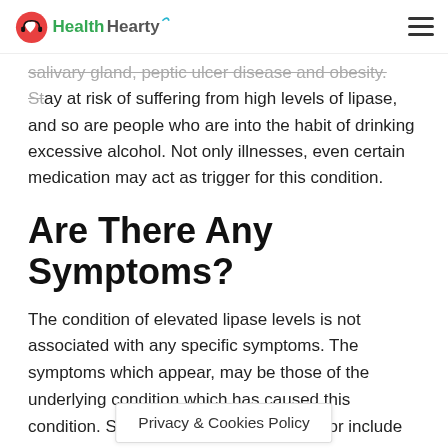HealthHearty
salivary gland, peptic ulcer disease and obesity. Stay at risk of suffering from high levels of lipase, and so are people who are into the habit of drinking excessive alcohol. Not only illnesses, even certain medication may act as trigger for this condition.
Are There Any Symptoms?
The condition of elevated lipase levels is not associated with any specific symptoms. The symptoms which appear, may be those of the underlying condition which has caused this condition. So symptoms to be watched for include
Privacy & Cookies Policy